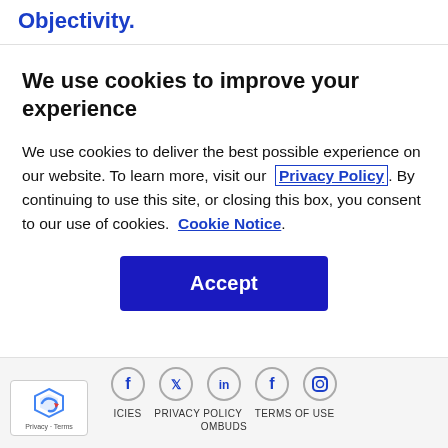Objectivity.
We use cookies to improve your experience
We use cookies to deliver the best possible experience on our website. To learn more, visit our Privacy Policy. By continuing to use this site, or closing this box, you consent to our use of cookies. Cookie Notice.
[Figure (other): Blue Accept button]
[Figure (other): Social media icons row: Facebook, Twitter, LinkedIn, Facebook, Instagram]
[Figure (logo): reCAPTCHA badge with Privacy and Terms links]
ICIES   PRIVACY POLICY   TERMS OF USE   OMBUDS